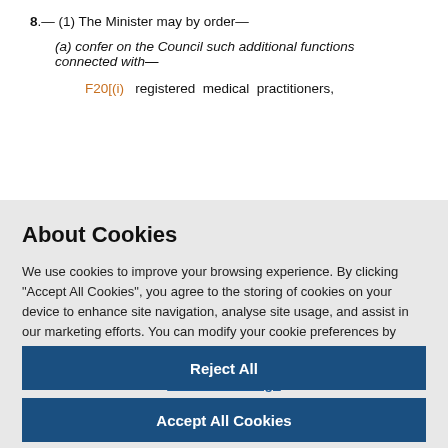8.— (1) The Minister may by order—
(a) confer on the Council such additional functions connected with—
F20[(i) registered medical practitioners,
About Cookies
We use cookies to improve your browsing experience. By clicking "Accept All Cookies", you agree to the storing of cookies on your device to enhance site navigation, analyse site usage, and assist in our marketing efforts. You can modify your cookie preferences by clicking on cookie settings within our Cookie Policy
Cookies Settings
Reject All
Accept All Cookies